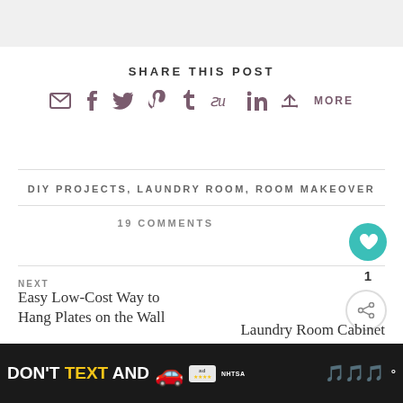SHARE THIS POST
[Figure (infographic): Social sharing icons: email, facebook, twitter, pinterest, tumblr, stumbleupon, linkedin, more]
DIY PROJECTS, LAUNDRY ROOM, ROOM MAKEOVER
19 COMMENTS
NEXT
Easy Low-Cost Way to Hang Plates on the Wall
Laundry Room Cabinet
WHAT'S NEXT → Plans to Redo a Laundry...
YOU MAY ALSO LIKE
[Figure (infographic): Ad banner: DON'T TEXT AND [car emoji] with NHTSA branding]